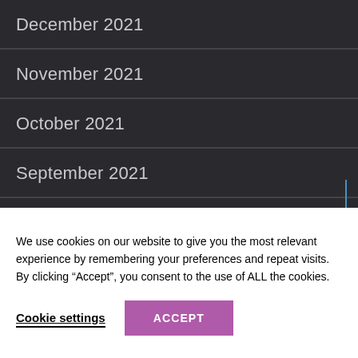December 2021
November 2021
October 2021
September 2021
August 2021
July 2021
We use cookies on our website to give you the most relevant experience by remembering your preferences and repeat visits. By clicking “Accept”, you consent to the use of ALL the cookies.
Cookie settings
ACCEPT